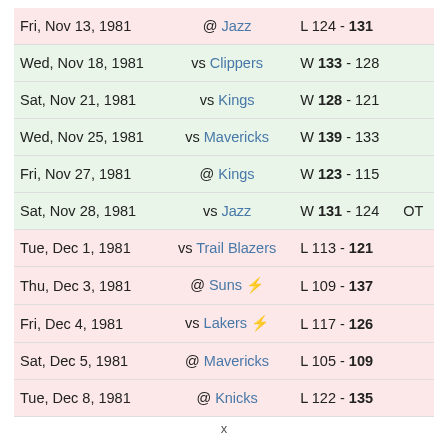| Date | Opponent | Result | OT |
| --- | --- | --- | --- |
| Fri, Nov 13, 1981 | @ Jazz | L 124 - 131 |  |
| Wed, Nov 18, 1981 | vs Clippers | W 133 - 128 |  |
| Sat, Nov 21, 1981 | vs Kings | W 128 - 121 |  |
| Wed, Nov 25, 1981 | vs Mavericks | W 139 - 133 |  |
| Fri, Nov 27, 1981 | @ Kings | W 123 - 115 |  |
| Sat, Nov 28, 1981 | vs Jazz | W 131 - 124 | OT |
| Tue, Dec 1, 1981 | vs Trail Blazers | L 113 - 121 |  |
| Thu, Dec 3, 1981 | @ Suns ⚡ | L 109 - 137 |  |
| Fri, Dec 4, 1981 | vs Lakers ⚡ | L 117 - 126 |  |
| Sat, Dec 5, 1981 | @ Mavericks | L 105 - 109 |  |
| Tue, Dec 8, 1981 | @ Knicks | L 122 - 135 |  |